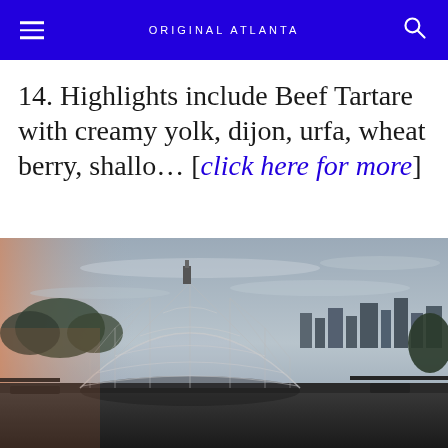ORIGINAL ATLANTA
14. Highlights include Beef Tartare with creamy yolk, dijon, urfa, wheat berry, shallo… [click here for more]
[Figure (photo): A transparent geodesic dome on a rooftop with Atlanta skyline in the background at dusk, warm light on the left from sunset.]